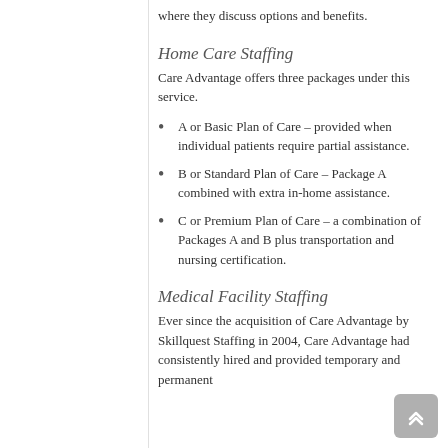where they discuss options and benefits.
Home Care Staffing
Care Advantage offers three packages under this service.
A or Basic Plan of Care – provided when individual patients require partial assistance.
B or Standard Plan of Care – Package A combined with extra in-home assistance.
C or Premium Plan of Care – a combination of Packages A and B plus transportation and nursing certification.
Medical Facility Staffing
Ever since the acquisition of Care Advantage by Skillquest Staffing in 2004, Care Advantage had consistently hired and provided temporary and permanent